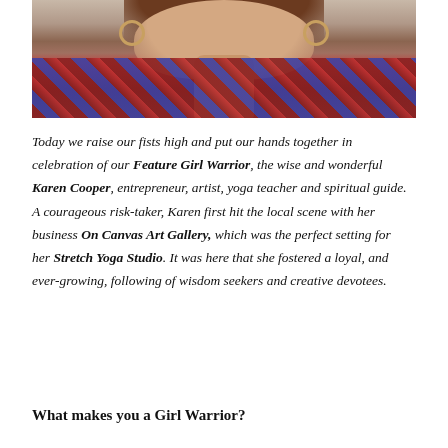[Figure (photo): Cropped photo of a woman with auburn hair and hoop earrings, wearing a red and blue patterned blouse, photographed from approximately the chin/neck area downward showing face, neck, and upper torso.]
Today we raise our fists high and put our hands together in celebration of our Feature Girl Warrior, the wise and wonderful Karen Cooper, entrepreneur, artist, yoga teacher and spiritual guide. A courageous risk-taker, Karen first hit the local scene with her business On Canvas Art Gallery, which was the perfect setting for her Stretch Yoga Studio. It was here that she fostered a loyal, and ever-growing, following of wisdom seekers and creative devotees.
What makes you a Girl Warrior?